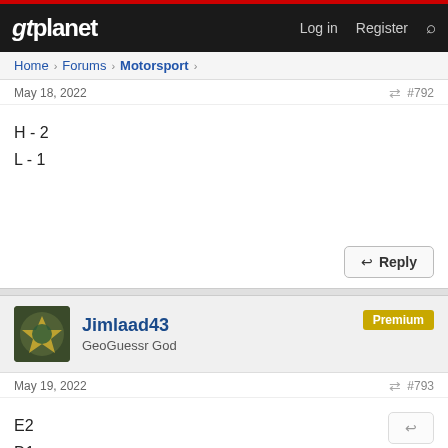gtplanet — Log in  Register
Home > Forums > Motorsport >
May 18, 2022    #792
H - 2
L - 1
Jimlaad43
GeoGuessr God
Premium
May 19, 2022    #793
E2
D1